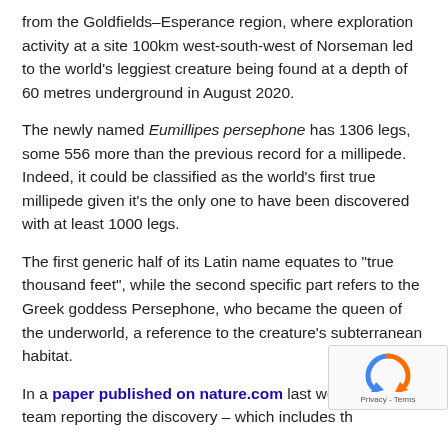from the Goldfields-Esperance region, where exploration activity at a site 100km west-south-west of Norseman led to the world's leggiest creature being found at a depth of 60 metres underground in August 2020.
The newly named Eumillipes persephone has 1306 legs, some 556 more than the previous record for a millipede. Indeed, it could be classified as the world's first true millipede given it's the only one to have been discovered with at least 1000 legs.
The first generic half of its Latin name equates to "true thousand feet", while the second specific part refers to the Greek goddess Persephone, who became the queen of the underworld, a reference to the creature's subterranean habitat.
In a paper published on nature.com last week, the team reporting the discovery – which includes the WA Museum's Head of Terrestrial Zoology and...